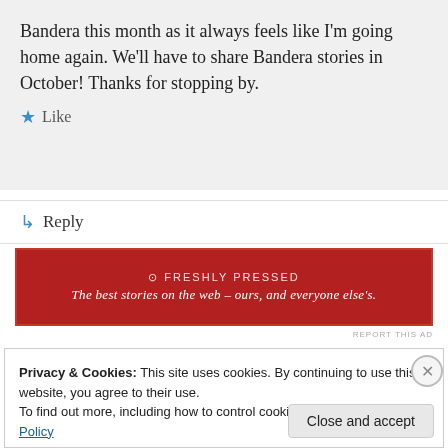Bandera this month as it always feels like I'm going home again. We'll have to share Bandera stories in October! Thanks for stopping by.
★ Like
↳ Reply
[Figure (infographic): Red advertisement banner with logo and tagline: 'The best stories on the web – ours, and everyone else's.']
REPORT THIS AD
Privacy & Cookies: This site uses cookies. By continuing to use this website, you agree to their use. To find out more, including how to control cookies, see here: Cookie Policy
Close and accept